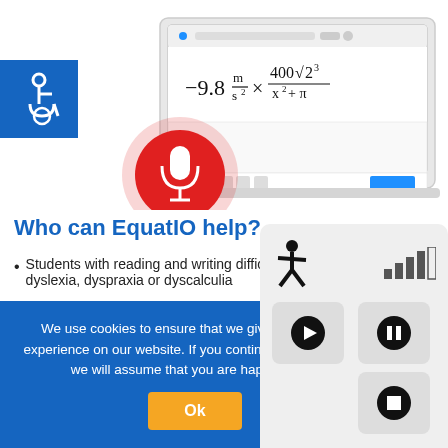[Figure (screenshot): Screenshot of EquatIO application showing a math equation with voice input microphone icon in red circle, and an accessibility icon in blue square top-left]
Who can EquatIO help?
Students with reading and writing difficulties including dyslexia, dyspraxia or dyscalculia
Students with mental health problems
[Figure (screenshot): Accessibility widget panel showing accessibility icon, signal bars, play, pause, and stop buttons]
We use cookies to ensure that we give you the best experience on our website. If you continue to use this site we will assume that you are happy with it.
Ok